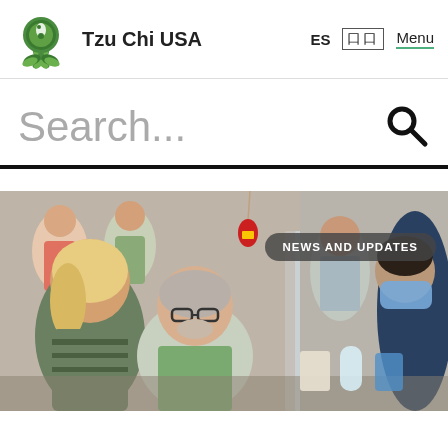Tzu Chi USA  ES  □□  Menu
Search...
[Figure (photo): Photo of people at what appears to be a community event or aid distribution center, with a plexiglass divider visible. A person wearing a blue mask is visible on the right side. A red Chinese decorative ornament hangs from above. A badge reading 'NEWS AND UPDATES' is overlaid on the image.]